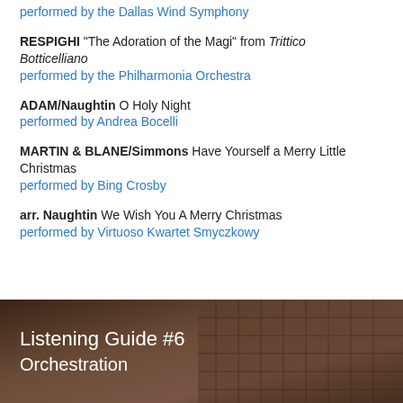performed by the Dallas Wind Symphony
RESPIGHI “The Adoration of the Magi” from Trittico Botticelliano
performed by the Philharmonia Orchestra
ADAM/Naughtin  O Holy Night
performed by Andrea Bocelli
MARTIN & BLANE/Simmons  Have Yourself a Merry Little Christmas
performed by Bing Crosby
arr. Naughtin  We Wish You A Merry Christmas
performed by Virtuoso Kwartet Smyczkowy
[Figure (photo): Dark background image of what appears to be letterpress type blocks or printer’s tray with metal type, overlaid with white text reading ‘Listening Guide #6’ and ‘Orchestration’]